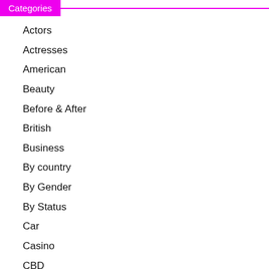Categories
Actors
Actresses
American
Beauty
Before & After
British
Business
By country
By Gender
By Status
Car
Casino
CBD
Cyber